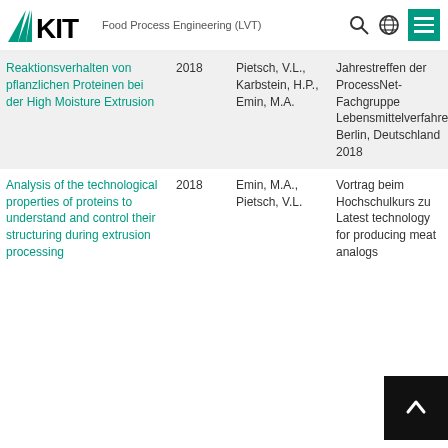KIT — Food Process Engineering (LVT)
| Title | Year | Authors | Venue |
| --- | --- | --- | --- |
| Reaktionsverhalten von pflanzlichen Proteinen bei der High Moisture Extrusion | 2018 | Pietsch, V.L., Karbstein, H.P., Emin, M.A. | Jahrestreffen der ProcessNet-Fachgruppe Lebensmittelverfahrenstechnik, Berlin, Deutschland 2018 |
| Analysis of the technological properties of proteins to understand and control their structuring during extrusion processing | 2018 | Emin, M.A., Pietsch, V.L. | Vortrag beim Hochschulkurs zu Latest technology for producing meat analogs |